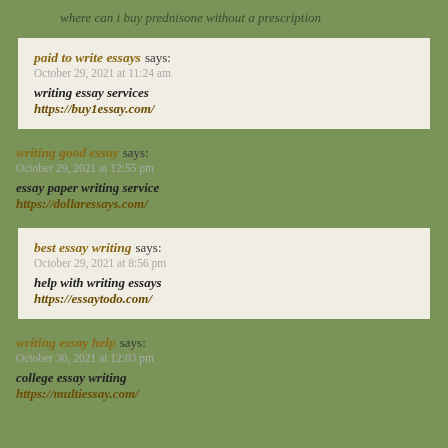where can i buy prednisone without a prescription
paid to write essays says:
October 29, 2021 at 11:24 am
writing essay services https://buy1essay.com/
writing good essay says:
October 29, 2021 at 12:55 pm
essay paper writing service https://dollaressays.com/
best essay writing says:
October 29, 2021 at 8:56 pm
help with writing essays https://essaytodo.com/
writing essay help says:
October 30, 2021 at 12:03 pm
college essay writing https://multiessay.com/